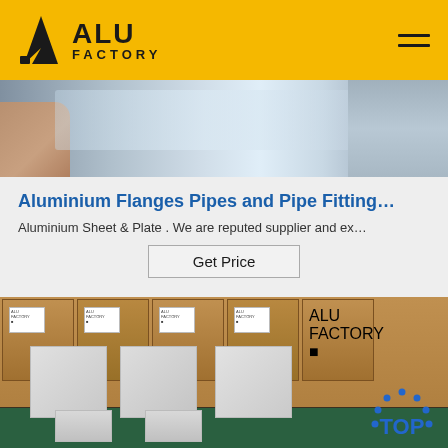[Figure (logo): ALU FACTORY logo on yellow header with hamburger menu icon]
[Figure (photo): Close-up photo of aluminum sheet/plate being handled by a person]
Aluminium Flanges Pipes and Pipe Fitting…
Aluminium Sheet & Plate . We are reputed supplier and ex…
Get Price
[Figure (photo): Warehouse photo showing packed wooden crates and white wrapped pallets with TOP badge in corner]